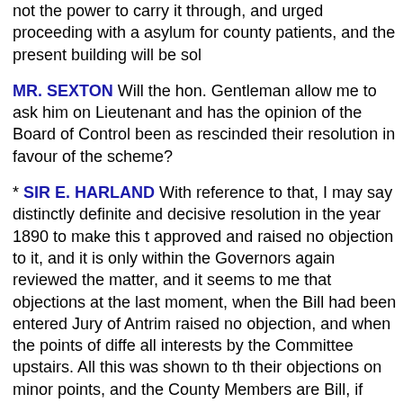not the power to carry it through, and urged proceeding with a asylum for county patients, and the present building will be sol
MR. SEXTON Will the hon. Gentleman allow me to ask him on Lieutenant and has the opinion of the Board of Control been as rescinded their resolution in favour of the scheme?
* SIR E. HARLAND With reference to that, I may say distinctly definite and decisive resolution in the year 1890 to make this t approved and raised no objection to it, and it is only within the Governors again reviewed the matter, and it seems to me that objections at the last moment, when the Bill had been entered Jury of Antrim raised no objection, and when the points of diffe all interests by the Committee upstairs. All this was shown to th their objections on minor points, and the County Members are Bill, if necessary. It can be shown, I think, that the supposed re thought, and should not stand in the way of a large transaction has been given for years. If at the last moment a momentary c weight as to change a course of policy deliberately entered up important public undertaking? The promoters of this Bill are bu consideration to the opinion that this change is necessa